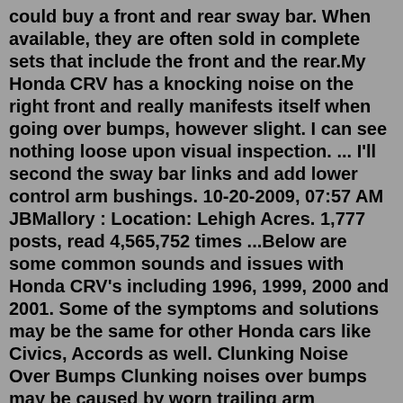could buy a front and rear sway bar. When available, they are often sold in complete sets that include the front and the rear.My Honda CRV has a knocking noise on the right front and really manifests itself when going over bumps, however slight. I can see nothing loose upon visual inspection. ... I'll second the sway bar links and add lower control arm bushings. 10-20-2009, 07:57 AM JBMallory : Location: Lehigh Acres. 1,777 posts, read 4,565,752 times ...Below are some common sounds and issues with Honda CRV's including 1996, 1999, 2000 and 2001. Some of the symptoms and solutions may be the same for other Honda cars like Civics, Accords as well. Clunking Noise Over Bumps Clunking noises over bumps may be caused by worn trailing arm bushings, ball joints, bushings, strut mounts or stabilizer ... Enjoy great rebate for second hand 2020 HONDA CR-V I-VTEC 2WD 2.0L, certified high quality. Free car loan calculator, money back guarantee and one year warranty ... Tranmission/ Transaxle Noise. Drive Axle/ Transfer Case Noise. No major accident. No fire